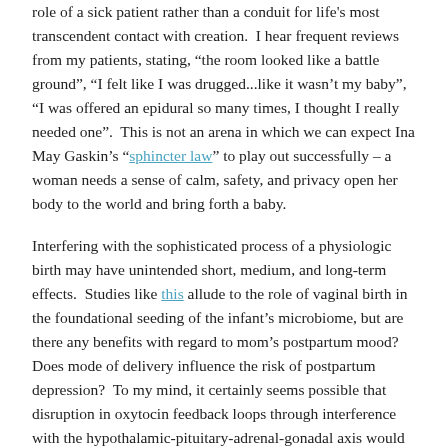role of a sick patient rather than a conduit for life's most transcendent contact with creation. I hear frequent reviews from my patients, stating, "the room looked like a battle ground", "I felt like I was drugged...like it wasn't my baby", "I was offered an epidural so many times, I thought I really needed one". This is not an arena in which we can expect Ina May Gaskin's "sphincter law" to play out successfully – a woman needs a sense of calm, safety, and privacy open her body to the world and bring forth a baby.
Interfering with the sophisticated process of a physiologic birth may have unintended short, medium, and long-term effects. Studies like this allude to the role of vaginal birth in the foundational seeding of the infant's microbiome, but are there any benefits with regard to mom's postpartum mood? Does mode of delivery influence the risk of postpartum depression? To my mind, it certainly seems possible that disruption in oxytocin feedback loops through interference with the hypothalamic-pituitary-adrenal-gonadal axis would set a woman up for near-term difficulty buffering the transition to new motherhood. If a physiologic birth is interfered with, the woman is left to go through the motions unaided by appropriate hormonal cascades – like walking across hot coals without shoes.